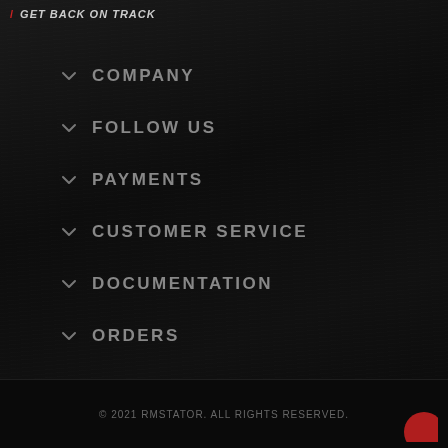/ GET BACK ON TRACK
COMPANY
FOLLOW US
PAYMENTS
CUSTOMER SERVICE
DOCUMENTATION
ORDERS
© 2021 RMSTATOR. ALL RIGHTS RESERVED.